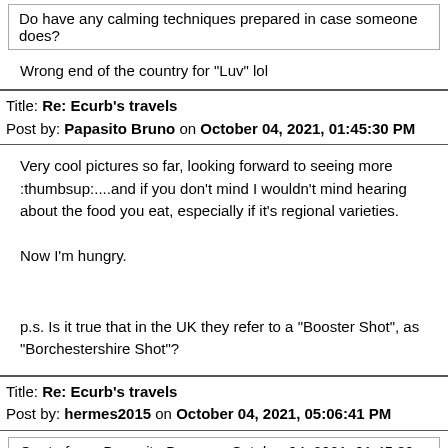Do have any calming techniques prepared in case someone does?
Wrong end of the country for "Luv" lol
Title: Re: Ecurb's travels
Post by: Papasito Bruno on October 04, 2021, 01:45:30 PM
Very cool pictures so far, looking forward to seeing more :thumbsup:....and if you don't mind I wouldn't mind hearing about the food you eat, especially if it's regional varieties.

Now I'm hungry.
p.s. Is it true that in the UK they refer to a "Booster Shot", as "Borchestershire Shot"?
Title: Re: Ecurb's travels
Post by: hermes2015 on October 04, 2021, 05:06:41 PM
Quote from: Papasito Bruno on October 04, 2021, 01:45:30 PM